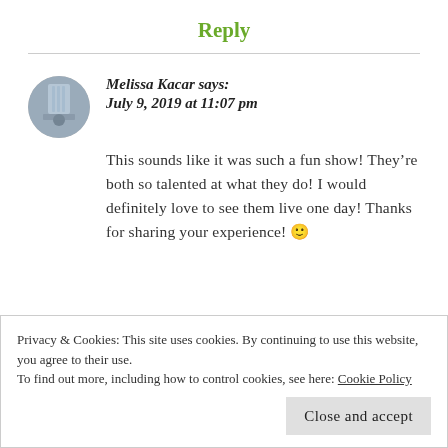Reply
Melissa Kacar says:
July 9, 2019 at 11:07 pm
This sounds like it was such a fun show! They’re both so talented at what they do! I would definitely love to see them live one day! Thanks for sharing your experience! 🙂
Privacy & Cookies: This site uses cookies. By continuing to use this website, you agree to their use.
To find out more, including how to control cookies, see here: Cookie Policy
Close and accept